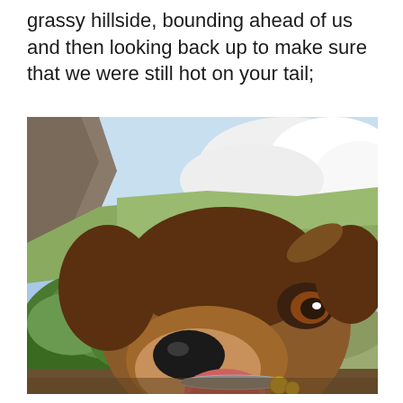grassy hillside, bounding ahead of us and then looking back up to make sure that we were still hot on your tail;
[Figure (photo): A brown dog with floppy ears looks directly into the camera from very close range, tongue out, on a green mossy hillside with a blue sky and white clouds in the background.]